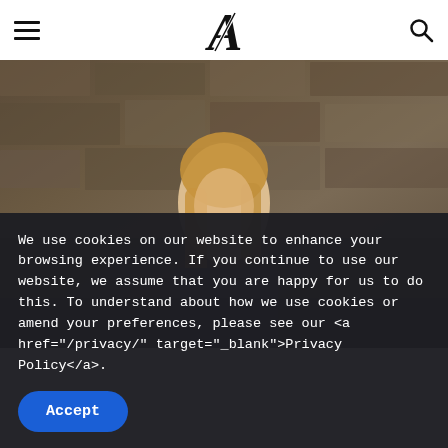Navigation header with hamburger menu, logo (stylized A), and search icon
[Figure (photo): Young woman with long blonde-auburn hair, eyes downcast, standing in front of a rough stone/brick wall. Fashion/lifestyle editorial photo.]
We use cookies on our website to enhance your browsing experience. If you continue to use our website, we assume that you are happy for us to do this. To understand about how we use cookies or amend your preferences, please see our <a href="/privacy/" target="_blank">Privacy Policy</a>.
Accept